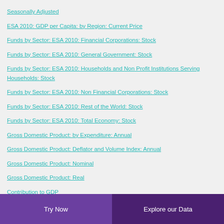Seasonally Adjusted
ESA 2010: GDP per Capita: by Region: Current Price
Funds by Sector: ESA 2010: Financial Corporations: Stock
Funds by Sector: ESA 2010: General Government: Stock
Funds by Sector: ESA 2010: Households and Non Profit Institutions Serving Households: Stock
Funds by Sector: ESA 2010: Non Financial Corporations: Stock
Funds by Sector: ESA 2010: Rest of the World: Stock
Funds by Sector: ESA 2010: Total Economy: Stock
Gross Domestic Product: by Expenditure: Annual
Gross Domestic Product: Deflator and Volume Index: Annual
Gross Domestic Product: Nominal
Gross Domestic Product: Real
Contribution to GDP
Try Now | Explore our Data